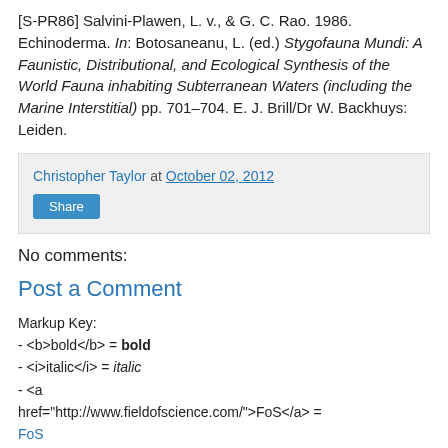[S-PR86] Salvini-Plawen, L. v., & G. C. Rao. 1986. Echinoderma. In: Botosaneanu, L. (ed.) Stygofauna Mundi: A Faunistic, Distributional, and Ecological Synthesis of the World Fauna inhabiting Subterranean Waters (including the Marine Interstitial) pp. 701–704. E. J. Brill/Dr W. Backhuys: Leiden.
Christopher Taylor at October 02, 2012
Share
No comments:
Post a Comment
Markup Key:
- <b>bold</b> = bold
- <i>italic</i> = italic
- <a href="http://www.fieldofscience.com/">FoS</a> =